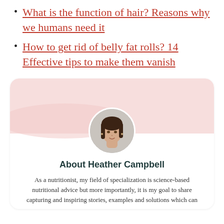What is the function of hair? Reasons why we humans need it
How to get rid of belly fat rolls? 14 Effective tips to make them vanish
[Figure (photo): Circular portrait photo of Heather Campbell, a woman with dark hair, set on a pink/rose-toned banner background inside an author bio card]
About Heather Campbell
As a nutritionist, my field of specialization is science-based nutritional advice but more importantly, it is my goal to share capturing and inspiring stories, examples and solutions which can